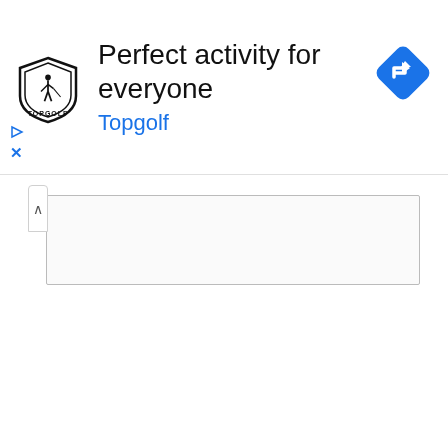[Figure (screenshot): Topgolf advertisement banner with logo, headline 'Perfect activity for everyone', brand name 'Topgolf' in blue, ad controls (play and close icons), and a blue navigation diamond icon in the top right corner. Below the ad is a collapsed UI element with a chevron and a search/input box area.]